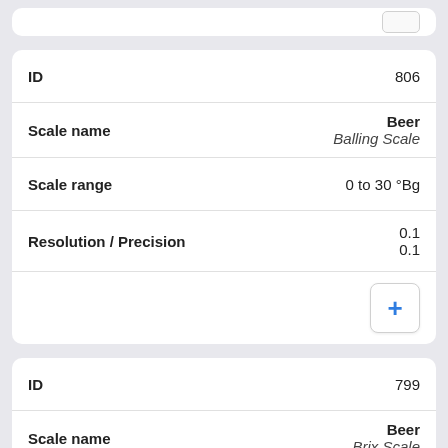| Field | Value |
| --- | --- |
| ID | 806 |
| Scale name | Beer
Balling Scale |
| Scale range | 0 to 30 °Bg |
| Resolution / Precision | 0.1
0.1 |
| Field | Value |
| --- | --- |
| ID | 799 |
| Scale name | Beer
Brix Scale |
| Scale range | 0 to 30 °Bx |